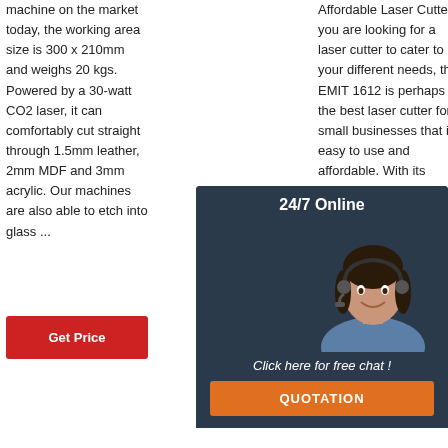machine on the market today, the working area size is 300 x 210mm and weighs 20 kgs. Powered by a 30-watt CO2 laser, it can comfortably cut straight through 1.5mm leather, 2mm MDF and 3mm acrylic. Our machines are also able to etch into glass ...
Affordable Laser Cutter. If you are looking for a laser cutter to cater to your different needs, this EMIT 1612 is perhaps the best laser cutter for small businesses that is easy to use and affordable. With its double laser head, you can get clean & accurate designs on a larger area of any material.
(A150) - Modular 3-in-1 FDM 3D Printer - Laser Engraver/Cutter and CNC CNC Machi... 160x1... Silver. ₹1,36, Era 3D... Laser ... Engra... Engra... Machi... Marking for Metal ...
[Figure (other): 24/7 Online chat widget with woman wearing headset, and QUOTATION button]
Get Price
Get Price
Get Price